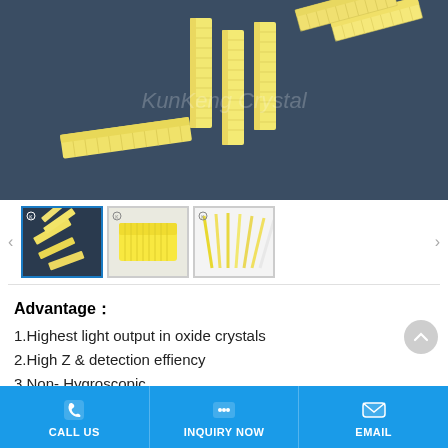[Figure (photo): Photo of yellow and white rectangular crystal scintillator blocks arranged on a dark blue-gray surface, with 'KunKeng Crystal' watermark. Multiple elongated rectangular blocks with yellow/cream color visible.]
[Figure (photo): Thumbnail 1: Small yellow crystal rods/sticks scattered on dark background]
[Figure (photo): Thumbnail 2: Yellow crystal block close-up, bright yellow rectangular piece]
[Figure (photo): Thumbnail 3: Multiple thin crystal needles/sticks fanned out on white background]
Advantage：
1.Highest light output in oxide crystals
2.High Z & detection effiency
3.Non- Hygroscopic
CALL US   INQUIRY NOW   EMAIL